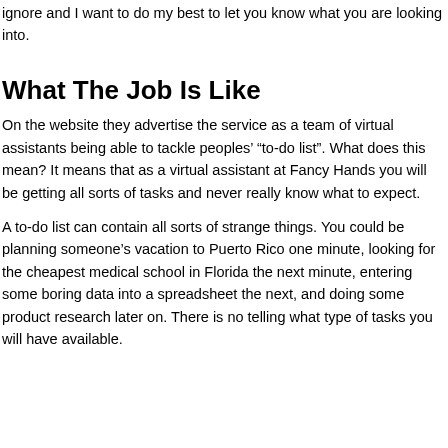ignore and I want to do my best to let you know what you are looking into.
What The Job Is Like
On the website they advertise the service as a team of virtual assistants being able to tackle peoples' “to-do list”. What does this mean? It means that as a virtual assistant at Fancy Hands you will be getting all sorts of tasks and never really know what to expect.
A to-do list can contain all sorts of strange things. You could be planning someone’s vacation to Puerto Rico one minute, looking for the cheapest medical school in Florida the next minute, entering some boring data into a spreadsheet the next, and doing some product research later on. There is no telling what type of tasks you will have available.